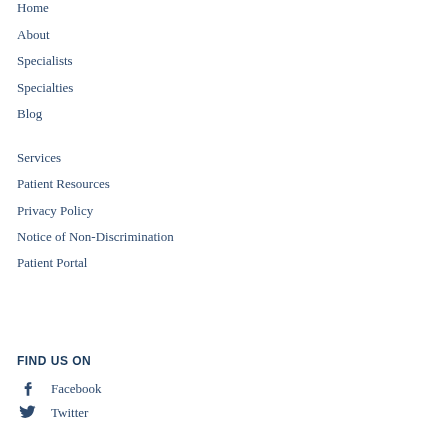Home
About
Specialists
Specialties
Blog
Services
Patient Resources
Privacy Policy
Notice of Non-Discrimination
Patient Portal
FIND US ON
Facebook
Twitter